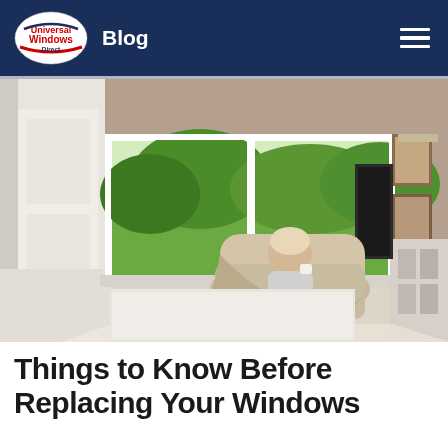Universal Windows Direct — Blog
[Figure (photo): A woman sitting in an armchair wrapped in a blanket, holding a cup, in a cozy living room with large white casement windows showing a green garden outside.]
Things to Know Before Replacing Your Windows